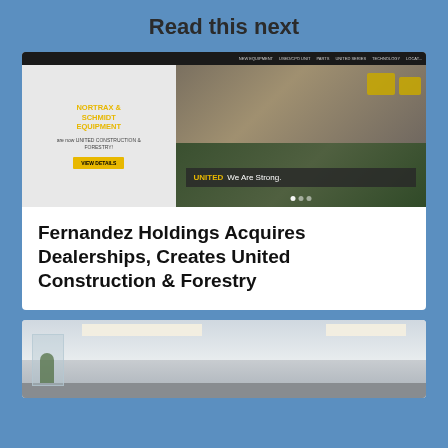Read this next
[Figure (screenshot): Screenshot of United Construction & Forestry website showing Nortrax & Schmidt Equipment rebrand with yellow construction equipment and 'UNITED We Are Strong.' banner]
Fernandez Holdings Acquires Dealerships, Creates United Construction & Forestry
[Figure (photo): Interior photo of a modern office or showroom with glass panels, recessed lighting, and a plant]